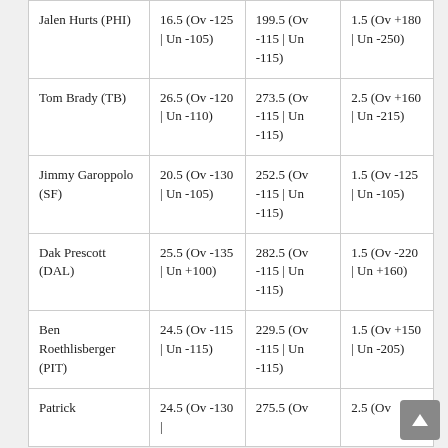| Player | Rush Yards | Pass Yards | TDs |
| --- | --- | --- | --- |
| Jalen Hurts (PHI) | 16.5 (Ov -125 | Un -105) | 199.5 (Ov -115 | Un -115) | 1.5 (Ov +180 | Un -250) |
| Tom Brady (TB) | 26.5 (Ov -120 | Un -110) | 273.5 (Ov -115 | Un -115) | 2.5 (Ov +160 | Un -215) |
| Jimmy Garoppolo (SF) | 20.5 (Ov -130 | Un -105) | 252.5 (Ov -115 | Un -115) | 1.5 (Ov -125 | Un -105) |
| Dak Prescott (DAL) | 25.5 (Ov -135 | Un +100) | 282.5 (Ov -115 | Un -115) | 1.5 (Ov -220 | Un +160) |
| Ben Roethlisberger (PIT) | 24.5 (Ov -115 | Un -115) | 229.5 (Ov -115 | Un -115) | 1.5 (Ov +150 | Un -205) |
| Patrick | 24.5 (Ov -130 | | 275.5 (Ov | 2.5 (Ov |